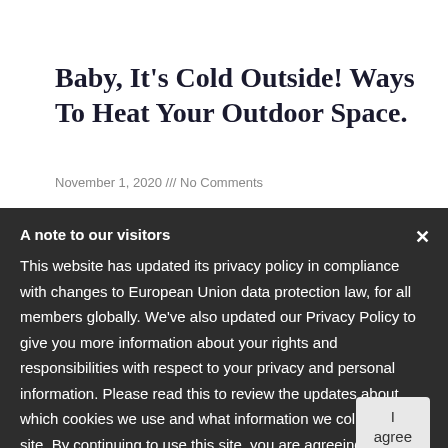Baby, It’s Cold Outside! Ways To Heat Your Outdoor Space.
November 1, 2020 /// No Comments
Read More »
What You Need To Start Building Your Own Patio Furniture
October 20, 2020 /// No Comments
Read More »
A note to our visitors
This website has updated its privacy policy in compliance with changes to European Union data protection law, for all members globally. We’ve also updated our Privacy Policy to give you more information about your rights and responsibilities with respect to your privacy and personal information. Please read this to review the updates about which cookies we use and what information we collect on our site. By continuing to use this site, you are agreeing to our updated privacy policy.